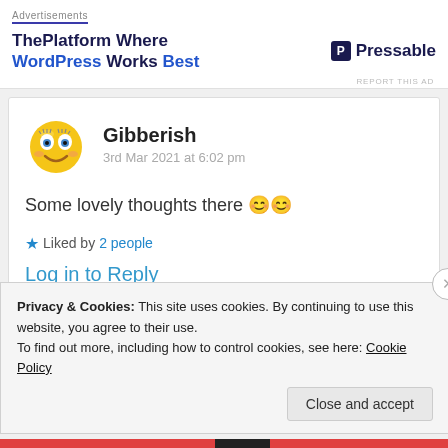Advertisements
[Figure (infographic): Advertisement banner: ThePlatform Where WordPress Works Best | P Pressable logo]
REPORT THIS AD
Gibberish
3rd Mar 2021 at 6:02 pm
Some lovely thoughts there 😊😊
★ Liked by 2 people
Log in to Reply
Privacy & Cookies: This site uses cookies. By continuing to use this website, you agree to their use.
To find out more, including how to control cookies, see here: Cookie Policy
Close and accept